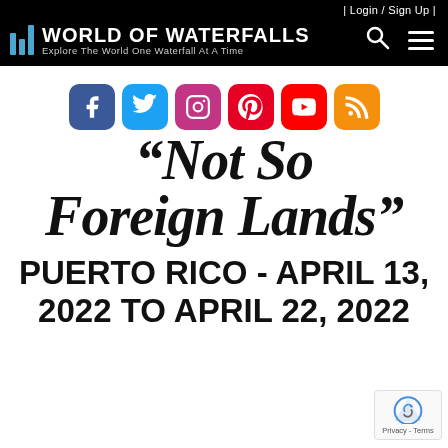| Login / Sign Up |
World of Waterfalls — Explore The World One Waterfall At A Time
[Figure (infographic): Row of six social media icons: Facebook (blue), Twitter (light blue), Instagram (pink/purple), Pinterest (red), YouTube (red), RSS (orange)]
"Not So Foreign Lands"
PUERTO RICO - APRIL 13, 2022 TO APRIL 22, 2022